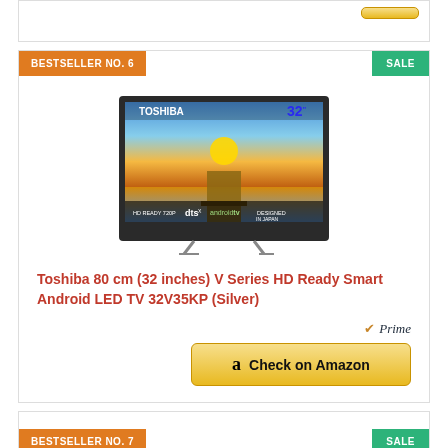[Figure (other): Partial view of a product card from above with an Amazon Check on Amazon button]
BESTSELLER NO. 6
SALE
[Figure (photo): Toshiba 32 inch V Series HD Ready Smart Android LED TV 32V35KP (Silver) product image on a white background]
Toshiba 80 cm (32 inches) V Series HD Ready Smart Android LED TV 32V35KP (Silver)
Prime
Check on Amazon
BESTSELLER NO. 7
SALE